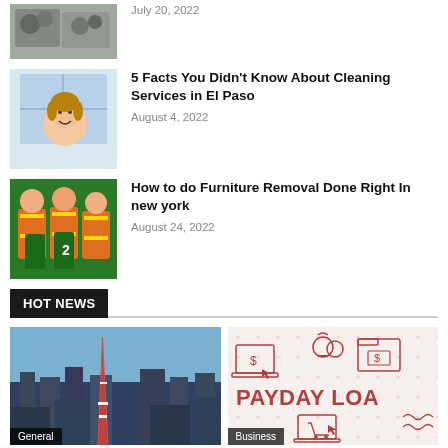[Figure (photo): Partial view of an article with cats/animals image at top, date July 20, 2022 visible]
July 20, 2022
[Figure (photo): Woman smiling through a window, cleaning services article image]
5 Facts You Didn't Know About Cleaning Services in El Paso
August 4, 2022
[Figure (photo): Workers in orange high-vis vests carrying green furniture/bins]
How to do Furniture Removal Done Right In new york
August 24, 2022
HOT NEWS
[Figure (photo): Aerial cityscape with Tokyo Tower prominent, labeled General]
[Figure (photo): Payday Loan infographic with line-art icons of laptop, money bags, files, labeled Business]